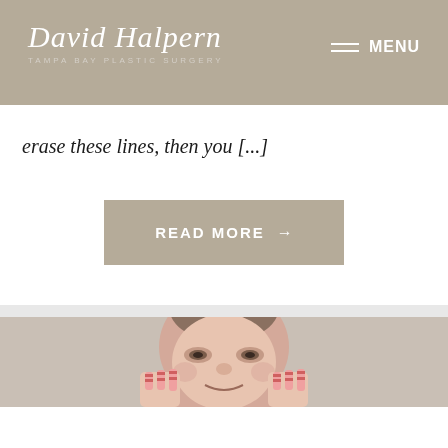David Halpern Tampa Bay Plastic Surgery | MENU
erase these lines, then you [...]
READ MORE →
[Figure (photo): Close-up photo of a middle-aged woman smiling, holding her hands near her face with striped nail wraps, against a beige/tan background]
(813) 871-5000   Appointment